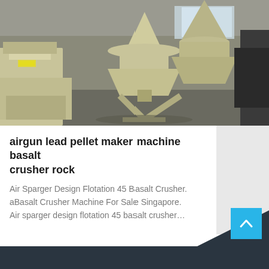[Figure (photo): Industrial cone crushers / basalt crusher machines photographed in a factory/warehouse setting. Several large yellow-cream colored crushing machines on metal frames are visible on a concrete floor, with windows and structural elements in the background.]
airgun lead pellet maker machine basalt crusher rock
Air Sparger Design Flotation 45 Basalt Crusher. aBasalt Crusher Machine For Sale Singapore. Air sparger design flotation 45 basalt crusher…